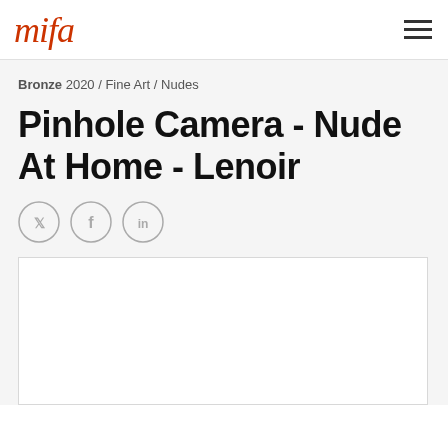mifa
Bronze 2020 / Fine Art / Nudes
Pinhole Camera - Nude At Home - Lenoir
[Figure (other): Social sharing icons: Twitter, Facebook, LinkedIn — circular outlined icons in gray]
[Figure (photo): Large white/light image area — photograph placeholder]